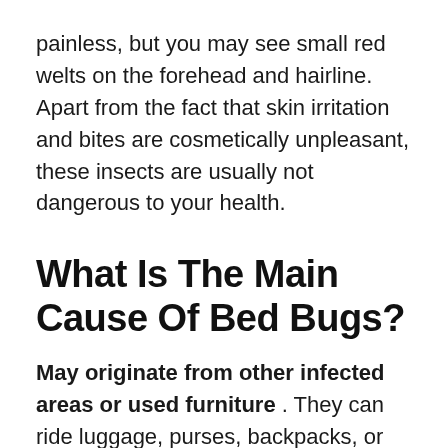painless, but you may see small red welts on the forehead and hairline. Apart from the fact that skin irritation and bites are cosmetically unpleasant, these insects are usually not dangerous to your health.
What Is The Main Cause Of Bed Bugs?
May originate from other infected areas or used furniture . They can ride luggage, purses, backpacks, or other items placed on soft or upholstered surfaces. They can move between rooms in multiple units of buildings